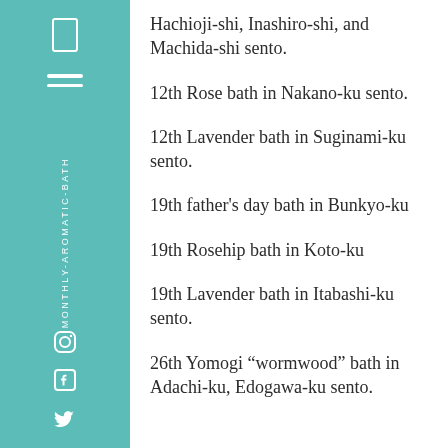Hachioji-shi, Inashiro-shi, and Machida-shi sento.
12th Rose bath in Nakano-ku sento.
12th Lavender bath in Suginami-ku sento.
19th father’s day bath in Bunkyo-ku
19th Rosehip bath in Koto-ku
19th Lavender bath in Itabashi-ku sento.
26th Yomogi “wormwood” bath in Adachi-ku, Edogawa-ku sento.